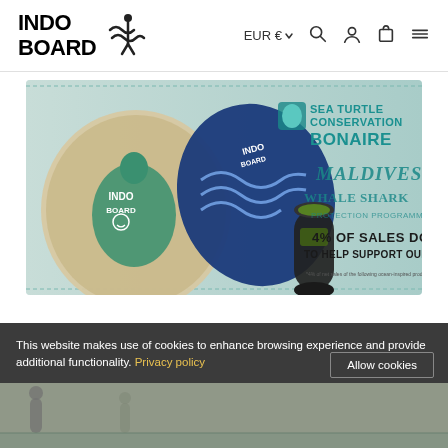INDO BOARD — EUR € navigation header with search, account, cart, menu icons
[Figure (photo): Indo Board balance boards promotional banner showing two balance boards (one with sea turtle design, one with blue wave pattern) and a roller cylinder. Text overlay: SEA TURTLE CONSERVATION BONAIRE, MALDIVES WHALE SHARK PROTECTION PROGRAMME, 4% OF SALES DONATED* TO HELP SUPPORT OUR OCEANS]
This website makes use of cookies to enhance browsing experience and provide additional functionality. Privacy policy
Allow cookies
[Figure (photo): Bottom strip showing partial image of people on what appears to be beach/water scene]